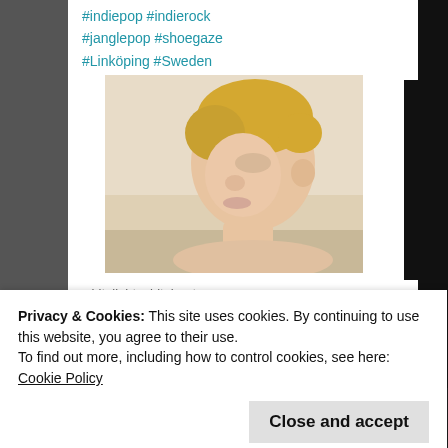#indiepop #indierock #janglepop #shoegaze #Linköping #Sweden
[Figure (photo): Photo of a young blonde boy in profile view, looking to the left, appears to be a child with short hair, shirtless, soft warm tones.]
whitelight-whiteheat.com
WL//WH Track Of The Day: THE SLOW SUMMITS ...
Privacy & Cookies: This site uses cookies. By continuing to use this website, you agree to their use.
To find out more, including how to control cookies, see here:
Cookie Policy
Close and accept
On isolations.blogspot.com